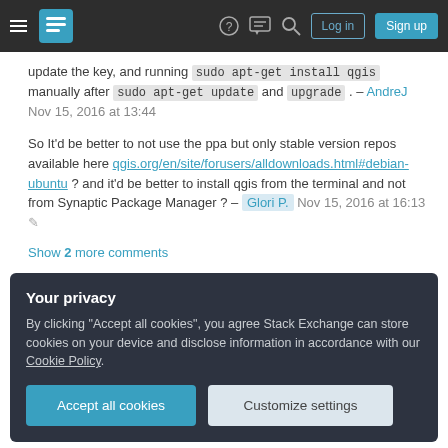Navigation bar with hamburger menu, logo, help, chat, search, Log in, Sign up
update the key, and running sudo apt-get install qgis manually after sudo apt-get update and upgrade . – AndreJ Nov 15, 2016 at 13:44
So It'd be better to not use the ppa but only stable version repos available here qgis.org/en/site/forusers/alldownloads.html#debian-ubuntu ? and it'd be better to install qgis from the terminal and not from Synaptic Package Manager ? – Glori P. Nov 15, 2016 at 16:13
Show 2 more comments
Your privacy
By clicking "Accept all cookies", you agree Stack Exchange can store cookies on your device and disclose information in accordance with our Cookie Policy.
Accept all cookies | Customize settings